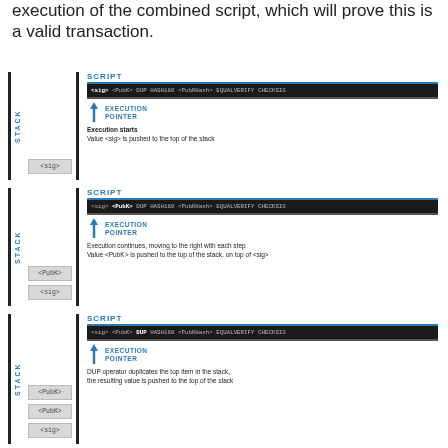execution of the combined script, which will prove this is a valid transaction.
[Figure (infographic): Diagram panel 1: Stack with <sig>, Script showing full script, Execution Pointer arrow, text: Execution starts. Value <sig> is pushed to the top of the stack]
[Figure (infographic): Diagram panel 2: Stack with <PubK> on top of <sig>, Script showing full script with <sig> greyed, Execution Pointer, text: Execution continues, moving to the right with each step. Value <PubK> is pushed to the top of the stack, on top of <sig>]
[Figure (infographic): Diagram panel 3: Stack with <PubK>, <PubK>, <sig>, Script with DUP highlighted, Execution Pointer, text: DUP operator duplicates the top item in the stack, the resulting value is pushed to the top of the stack]